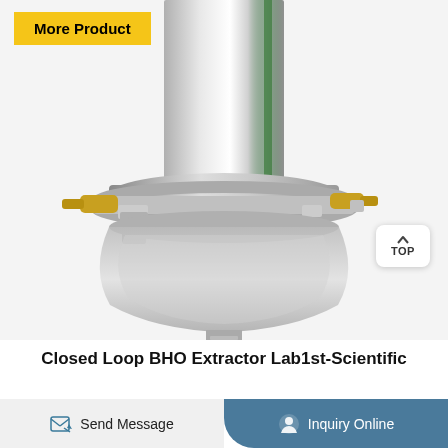More Product
[Figure (photo): Close-up photo of a stainless steel closed loop BHO extractor component showing a cylindrical column, tri-clamp connection, brass fittings on both sides, and a transparent collection bowl below.]
Closed Loop BHO Extractor Lab1st-Scientific
Send Message
Inquiry Online